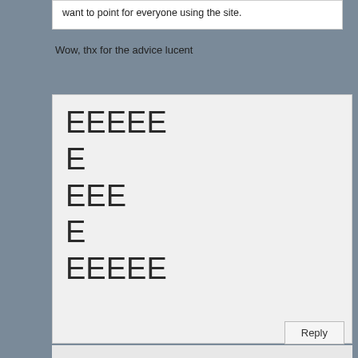want to point for everyone using the site.
Wow, thx for the advice lucent
EEEEE
E
EEE
E
EEEE
Reply